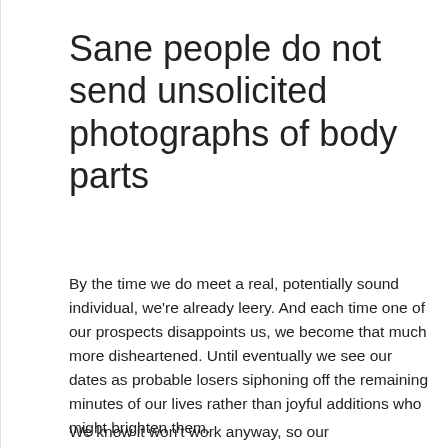Sane people do not send unsolicited photographs of body parts
By the time we do meet a real, potentially sound individual, we're already leery. And each time one of our prospects disappoints us, we become that much more disheartened. Until eventually we see our dates as probable losers siphoning off the remaining minutes of our lives rather than joyful additions who might brighten them.
We know it won't work anyway, so our